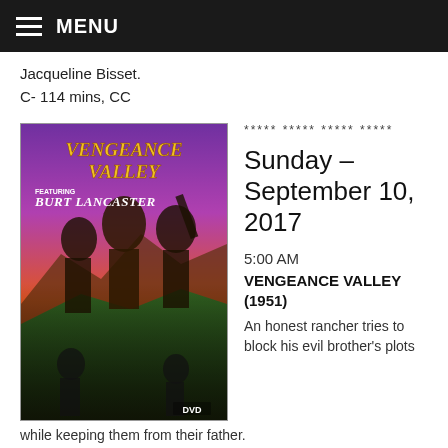MENU
Jacqueline Bisset.
C- 114 mins, CC
[Figure (photo): DVD cover of Vengeance Valley featuring Burt Lancaster, showing western movie poster art with characters and landscape]
***** ***** ***** *****
Sunday – September 10, 2017
5:00 AM
VENGEANCE VALLEY (1951)
An honest rancher tries to block his evil brother's plots while keeping them from their father.
Dir:  Richard Thorpe Cast:  Burt Lancaster, Robert Walker, Joanne Dru.